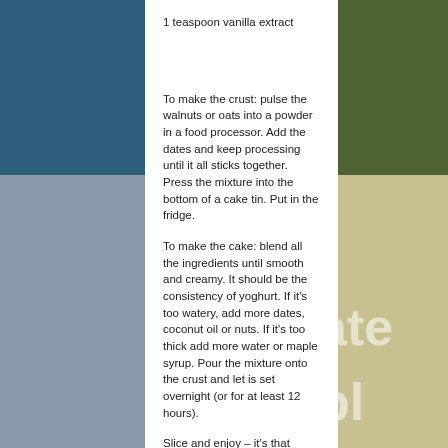1 teaspoon vanilla extract
To make the crust: pulse the walnuts or oats into a powder in a food processor. Add the dates and keep processing until it all sticks together. Press the mixture into the bottom of a cake tin. Put in the fridge.
To make the cake: blend all the ingredients until smooth and creamy. It should be the consistency of yoghurt. If it’s too watery, add more dates, coconut oil or nuts. If it’s too thick add more water or maple syrup. Pour the mixture onto the crust and let is set overnight (or for at least 12 hours).
Slice and enjoy – it’s that easy!